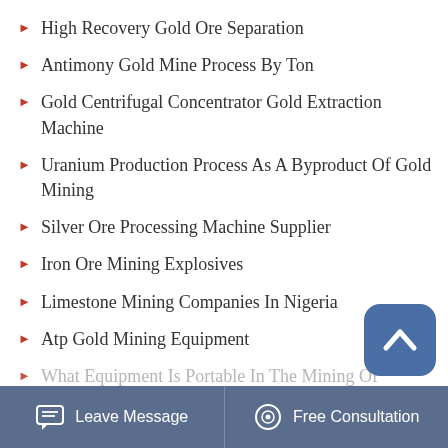High Recovery Gold Ore Separation
Antimony Gold Mine Process By Ton
Gold Centrifugal Concentrator Gold Extraction Machine
Uranium Production Process As A Byproduct Of Gold Mining
Silver Ore Processing Machine Supplier
Iron Ore Mining Explosives
Limestone Mining Companies In Nigeria
Atp Gold Mining Equipment
What Equipment Is Portable In The Mining Of…
Leave Message   Free Consultation